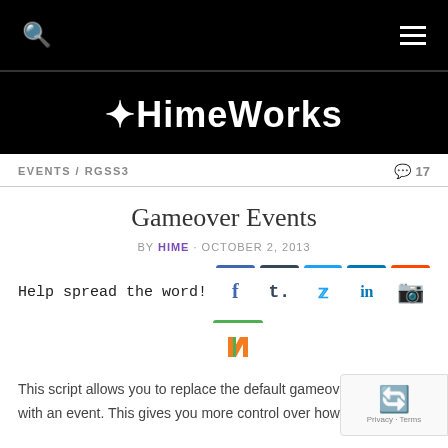HimeWorks – navigation bar with search and hamburger menu
❧HimeWorks
EVENTS / RGSS3   💬 17
Gameover Events
BY HIME · OCTOBER 2, 2013
Help spread the word! [social share buttons: Facebook, Tumblr, Twitter, LinkedIn, Reddit, Norbert]
This script allows you to replace the default gameover with an event. This gives you more control over how the